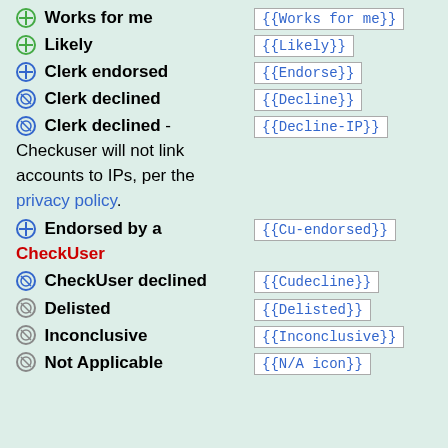Works for me  {{Works for me}}
Likely  {{Likely}}
Clerk endorsed  {{Endorse}}
Clerk declined  {{Decline}}
Clerk declined - Checkuser will not link accounts to IPs, per the privacy policy.  {{Decline-IP}}
Endorsed by a CheckUser  {{Cu-endorsed}}
CheckUser declined  {{Cudecline}}
Delisted  {{Delisted}}
Inconclusive  {{Inconclusive}}
Not Applicable  {{N/A icon}}